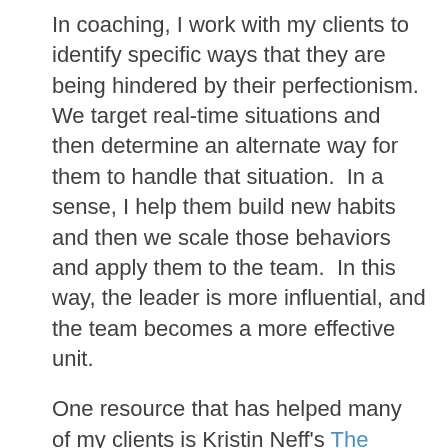In coaching, I work with my clients to identify specific ways that they are being hindered by their perfectionism.  We target real-time situations and then determine an alternate way for them to handle that situation.  In a sense, I help them build new habits and then we scale those behaviors and apply them to the team.  In this way, the leader is more influential, and the team becomes a more effective unit.
One resource that has helped many of my clients is Kristin Neff's The Mindfulness Self-Compassion Workbook.  It's a small but mighty guide with powerful exercises that can help leaders shift the habit of perfectionism to one of self-compassion.